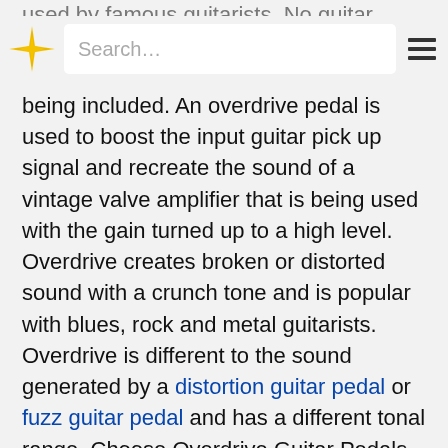Search…
used by famous guitarists. No guitar pedal board will being included. An overdrive pedal is used to boost the input guitar pick up signal and recreate the sound of a vintage valve amplifier that is being used with the gain turned up to a high level. Overdrive creates broken or distorted sound with a crunch tone and is popular with blues, rock and metal guitarists. Overdrive is different to the sound generated by a distortion guitar pedal or fuzz guitar pedal and has a different tonal range. Choose Overdrive Guitar Pedals wisely, cheap overdrive pedals can result in a harsh distorted sound and an increase in noise or hum. Consider a mid-priced or more expensive boutique overdrive pedals as made by boutique pedal makers have extra circuitry to shape the complete sound.